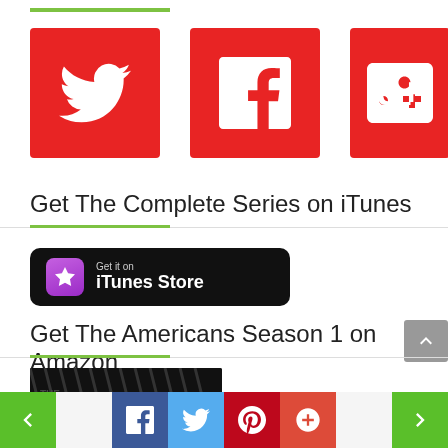[Figure (logo): Twitter logo icon on red square background]
[Figure (logo): Facebook 'f' logo on red square background]
[Figure (logo): Google+ 'g+' logo on red square background]
Get The Complete Series on iTunes
[Figure (logo): Get it on iTunes Store button - black rounded rectangle with purple star icon]
Get The Americans Season 1 on Amazon
[Figure (photo): The Americans TV show promotional image with stylized text]
[Figure (infographic): Bottom navigation bar with green prev/next arrows and Facebook, Twitter, Pinterest, Google+ social share buttons]